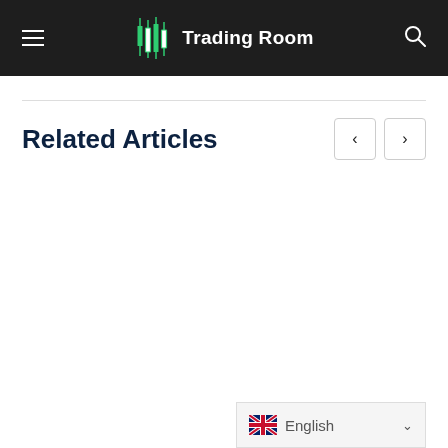Trading Room
Related Articles
[Figure (other): UK flag icon next to English language selector dropdown]